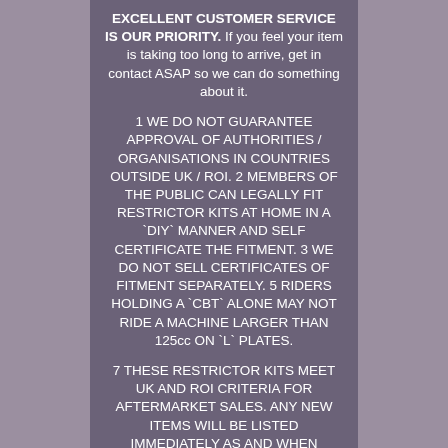EXCELLENT CUSTOMER SERVICE IS OUR PRIORITY. If you feel your item is taking too long to arrive, get in contact ASAP so we can do something about it.

1 WE DO NOT GUARANTEE APPROVAL OF AUTHORITIES / ORGANISATIONS IN COUNTRIES OUTSIDE UK / ROI. 2 MEMBERS OF THE PUBLIC CAN LEGALLY FIT RESTRICTOR KITS AT HOME IN A `DIY` MANNER AND SELF CERTIFICATE THE FITMENT. 3 WE DO NOT SELL CERTIFICATES OF FITMENT SEPARATELY. 5 RIDERS HOLDING A `CBT` ALONE MAY NOT RIDE A MACHINE LARGER THAN 125cc ON `L` PLATES.

7 THESE RESTRICTOR KITS MEET UK AND ROI CRITERIA FOR AFTERMARKET SALES. ANY NEW ITEMS WILL BE LISTED IMMEDIATELY AS AND WHEN AVAILABLE. Ma...